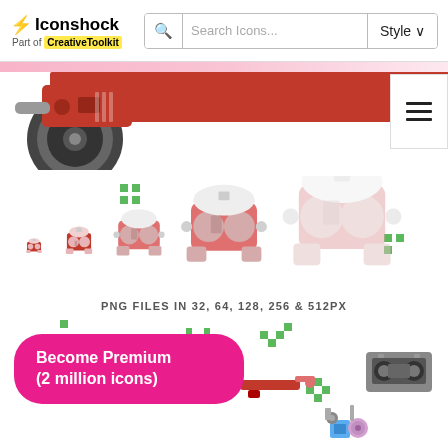Iconshock – Part of CreativeToolkit – Search Icons... – Style
[Figure (screenshot): Website banner showing a red horizontal bar with a hamburger menu icon on the right and a partial scooter/wheel illustration on the left, with a pink gradient strip at the top]
[Figure (illustration): Five VR headset icons shown in increasing sizes: 32, 64, 128, 256, and 512px, rendered in pixel/retro style with red and pink tones on white background, with green pixel decoration elements scattered around]
PNG FILES IN 32, 64, 128, 256 & 512PX
[Figure (screenshot): Bottom section showing retro pixel-art style icons including a space invader, controller, gun, cassette tape, robot arm, with a hot pink 'Become Premium (2 million icons)' call-to-action button overlay]
Become Premium
(2 million icons)